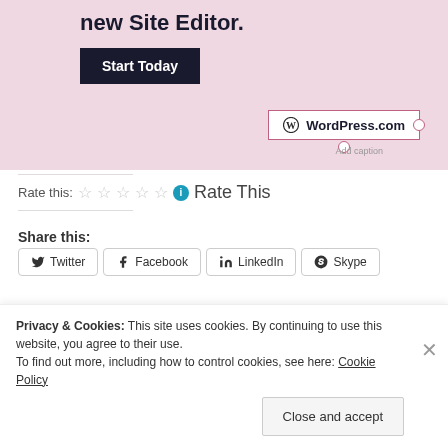[Figure (screenshot): Pink advertisement banner for WordPress.com Site Editor with 'Start Today' button and WordPress.com logo]
Rate this: ☆ ☆ ☆ ☆ ☆ ℹ Rate This
Share this:
Twitter  Facebook  LinkedIn  Skype
Email
Like
Privacy & Cookies: This site uses cookies. By continuing to use this website, you agree to their use.
To find out more, including how to control cookies, see here: Cookie Policy
Close and accept